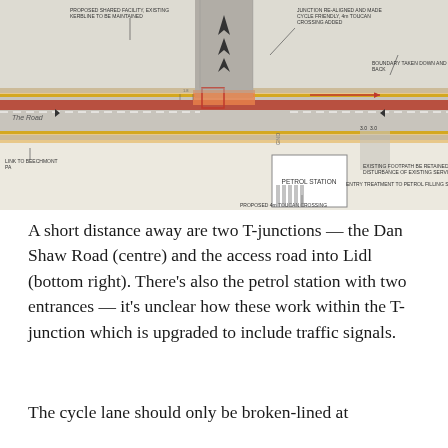[Figure (engineering-diagram): Engineering/planning diagram showing a road layout with T-junctions, cycle paths, a petrol station, and various annotations including: proposed shared facility, junction re-aligned and made cycle friendly with toucan crossing added, boundary taken down and set back, existing footpath to be retained, entry treatment to petrol filling station, proposed 4m toucan crossing, link to Beechmont PA.]
A short distance away are two T-junctions — the Dan Shaw Road (centre) and the access road into Lidl (bottom right). There's also the petrol station with two entrances — it's unclear how these work within the T-junction which is upgraded to include traffic signals.
The cycle lane should only be broken-lined at